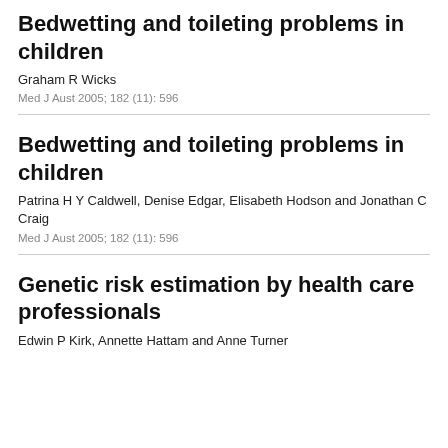Bedwetting and toileting problems in children
Graham R Wicks
Med J Aust 2005; 182 (11): 596
Bedwetting and toileting problems in children
Patrina H Y Caldwell, Denise Edgar, Elisabeth Hodson and Jonathan C Craig
Med J Aust 2005; 182 (11): 596
Genetic risk estimation by health care professionals
Edwin P Kirk, Annette Hattam and Anne Turner